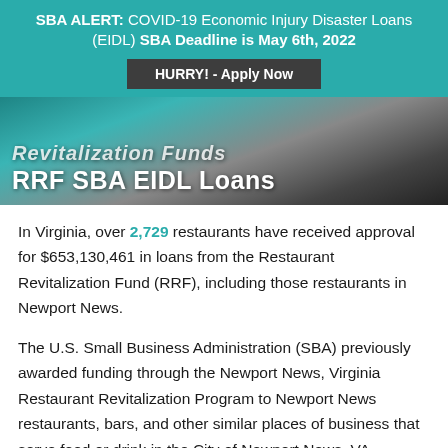SBA ALERT: COVID-19 Economic Injury Disaster Loans (EIDL) SBA Deadline is May 6th, 2022
HURRY! - Apply Now
[Figure (illustration): Hero banner image showing two people with overlaid text reading 'Revitalization Funds RRF SBA EIDL Loans']
In Virginia, over 2,729 restaurants have received approval for $653,130,461 in loans from the Restaurant Revitalization Fund (RRF), including those restaurants in Newport News.
The U.S. Small Business Administration (SBA) previously awarded funding through the Newport News, Virginia Restaurant Revitalization Program to Newport News restaurants, bars, and other similar places of business that serve food or drink in the City of Newport News, VA.